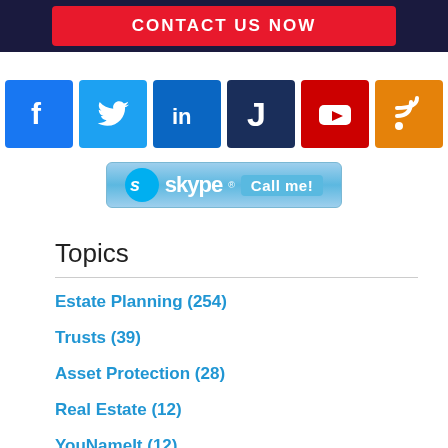CONTACT US NOW
[Figure (logo): Social media icons: Facebook, Twitter, LinkedIn, JD (Justia), YouTube, RSS feed, and a Skype Call me button]
Topics
Estate Planning (254)
Trusts (39)
Asset Protection (28)
Real Estate (12)
YouNameIt (12)